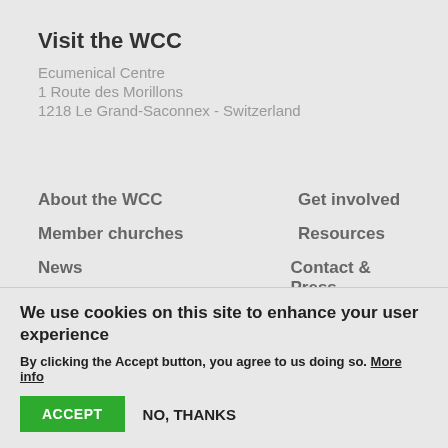Visit the WCC
Ecumenical Centre
1 Route des Morillons
1218 Le Grand-Saconnex - Switzerland
About the WCC
Get involved
Member churches
Resources
News
Contact & Press
Events
Blog
We use cookies on this site to enhance your user experience
By clicking the Accept button, you agree to us doing so. More info
ACCEPT   NO, THANKS